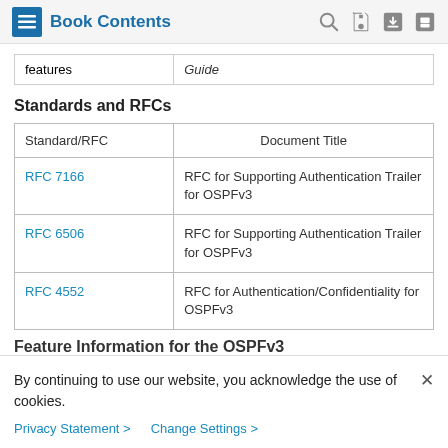Book Contents
| features | Guide |
| --- | --- |
Standards and RFCs
| Standard/RFC | Document Title |
| --- | --- |
| RFC 7166 | RFC for Supporting Authentication Trailer for OSPFv3 |
| RFC 6506 | RFC for Supporting Authentication Trailer for OSPFv3 |
| RFC 4552 | RFC for Authentication/Confidentiality for OSPFv3 |
Feature Information for the OSPFv3
By continuing to use our website, you acknowledge the use of cookies.
Privacy Statement > Change Settings >